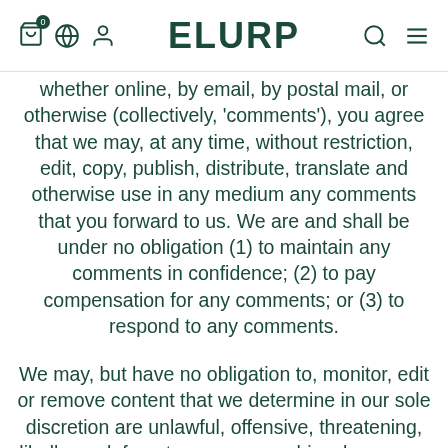ELURP
whether online, by email, by postal mail, or otherwise (collectively, 'comments'), you agree that we may, at any time, without restriction, edit, copy, publish, distribute, translate and otherwise use in any medium any comments that you forward to us. We are and shall be under no obligation (1) to maintain any comments in confidence; (2) to pay compensation for any comments; or (3) to respond to any comments.
We may, but have no obligation to, monitor, edit or remove content that we determine in our sole discretion are unlawful, offensive, threatening, libellous, defamatory, pornographic, obscene or otherwise objectionable or violates any party's intellectual property or these Terms of Service.